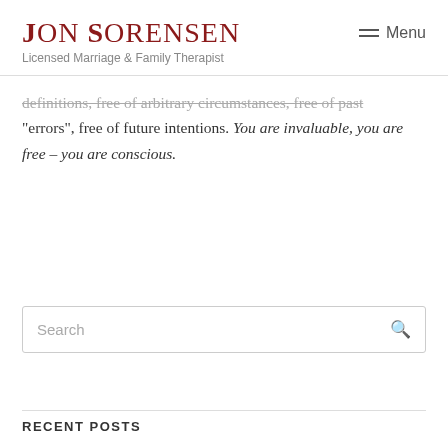Jon Sorensen
Licensed Marriage & Family Therapist
definitions, free of arbitrary circumstances, free of past “errors”, free of future intentions. You are invaluable, you are free – you are conscious.
Search
RECENT POSTS